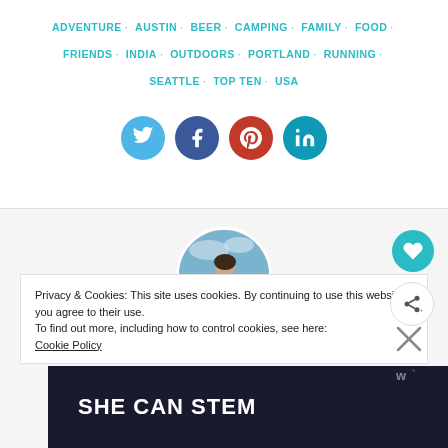ADVENTURE · AUSTIN · BEER · CAMPING · FAMILY · FOOD · FRIENDS · INDIA · OUTDOORS · PORTLAND · RUNNING · SEATTLE · TOP TEN · USA
[Figure (other): Social media sharing icons: Twitter (blue), Facebook (dark blue), Pinterest (red), LinkedIn (teal)]
[Figure (photo): Circular profile photo of a woman leaning forward outdoors against a blue sky]
Privacy & Cookies: This site uses cookies. By continuing to use this website, you agree to their use. To find out more, including how to control cookies, see here: Cookie Policy
[Figure (other): Dark banner with bold white text reading SHE CAN STEM]